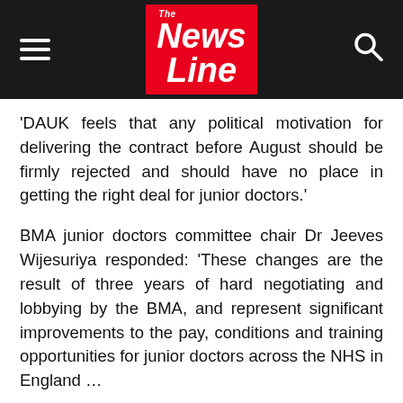[Figure (logo): News Line newspaper logo in red box on black header bar with hamburger menu icon on left and search icon on right]
‘DAUK feels that any political motivation for delivering the contract before August should be firmly rejected and should have no place in getting the right deal for junior doctors.’
BMA junior doctors committee chair Dr Jeeves Wijesuriya responded: ‘These changes are the result of three years of hard negotiating and lobbying by the BMA, and represent significant improvements to the pay, conditions and training opportunities for junior doctors across the NHS in England …
‘We must be clear, however, if our junior doctor members in England vote yes it means that these changes can be implemented as soon as possible, the additional funding is secured, we come out of dispute and have a process for